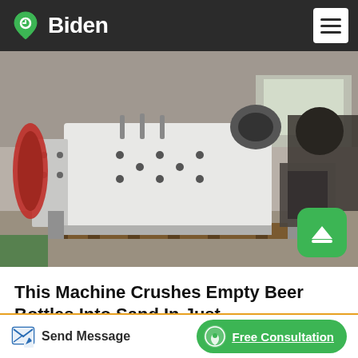Biden
[Figure (photo): Industrial machine - large white crushing equipment in a factory/warehouse setting]
This Machine Crushes Empty Beer Bottles Into Sand In Just
Mar 01, 2017 To that end, DB Breweries has built several machines able to take empty bottles and turn them into substitute sand. All a drinker needs to do is deposit his or her
Send Message | Free Consultation